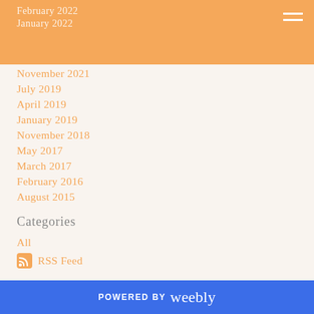February 2022 / January 2022
November 2021
July 2019
April 2019
January 2019
November 2018
May 2017
March 2017
February 2016
August 2015
Categories
All
RSS Feed
POWERED BY weebly